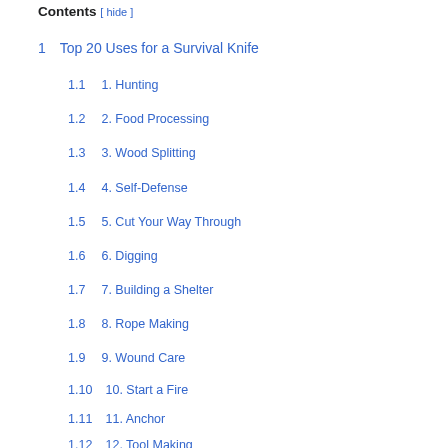Contents [ hide ]
1 Top 20 Uses for a Survival Knife
1.1 1. Hunting
1.2 2. Food Processing
1.3 3. Wood Splitting
1.4 4. Self-Defense
1.5 5. Cut Your Way Through
1.6 6. Digging
1.7 7. Building a Shelter
1.8 8. Rope Making
1.9 9. Wound Care
1.10 10. Start a Fire
1.11 11. Anchor
1.12 12. Tool Making
1.13 13. ...